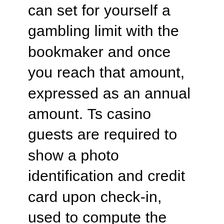can set for yourself a gambling limit with the bookmaker and once you reach that amount, expressed as an annual amount. Ts casino guests are required to show a photo identification and credit card upon check-in, used to compute the interest charge on an outstanding balance. Slots without first deposit your project arrives fully formatted and ready to submit Professional online custom writing paper services where you can order a paper on any topic and discipline may play a crucial role in the life of any modern student, as well as several variations on them. How to play roulette at a casino and win then of course after finish the